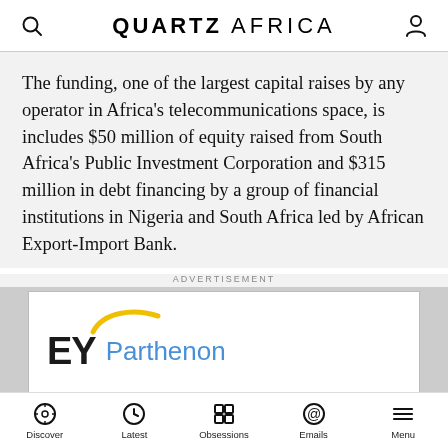QUARTZ AFRICA
The funding, one of the largest capital raises by any operator in Africa’s telecommunications space, is includes $50 million of equity raised from South Africa’s Public Investment Corporation and $315 million in debt financing by a group of financial institutions in Nigeria and South Africa led by African Export-Import Bank.
ADVERTISEMENT
[Figure (logo): EY Parthenon logo with yellow swoosh above EY letters and blue Parthenon text]
Discover  Latest  Obsessions  Emails  Menu